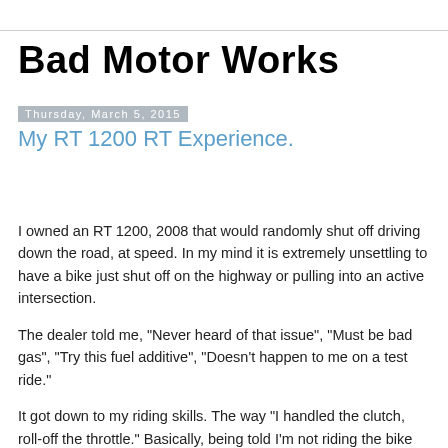Bad Motor Works
Thursday, March 5, 2015
My RT 1200 RT Experience.
I owned an RT 1200, 2008 that would randomly shut off driving down the road, at speed. In my mind it is extremely unsettling to have a bike just shut off on the highway or pulling into an active intersection.
The dealer told me, "Never heard of that issue", "Must be bad gas", "Try this fuel additive", "Doesn't happen to me on a test ride."
It got down to my riding skills. The way "I handled the clutch, roll-off the throttle." Basically, being told I'm not riding the bike right. Seriously insulting. I started riding mini-bikes at 12. I'm 50 now, was 45 then. I've also been required to take motorcycle safety foundation classes because it was a requirement in the Army. Yep I'm just a stupid idiot with zero skills. If I'm stupid, it was buying a BMW.